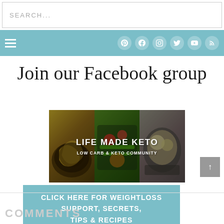SEARCH...
[Figure (screenshot): Navigation bar with hamburger menu icon on left and social media icons (Pinterest, Facebook, Instagram, Twitter, YouTube, RSS) on right, teal background]
[Figure (infographic): Join our Facebook group banner with cursive text and food photos showing keto meals with overlay text LIFE MADE KETO - LOW CARB & KETO COMMUNITY]
CLICK HERE FOR WEIGHTLOSS SUPPORT, SECRETS, TIPS & RECIPES
COMMENTS